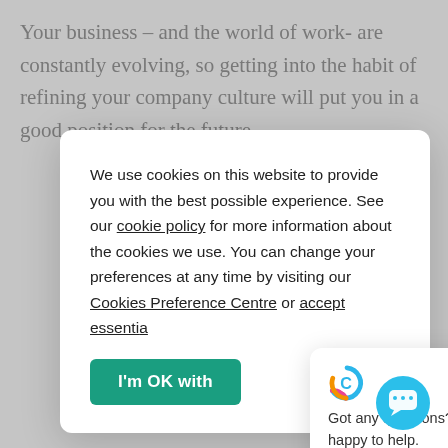Your business – and the world of work- are constantly evolving, so getting into the habit of refining your company culture will put you in a good position for the future.
[Figure (screenshot): Cookie consent modal dialog with text about cookie policy and an 'I'm OK with' button in green]
[Figure (screenshot): Chat widget popup with Ciphr/C logo and text 'Got any questions? We're happy to help.' with a close X button]
[Figure (screenshot): Cyan chat bubble button in bottom right corner]